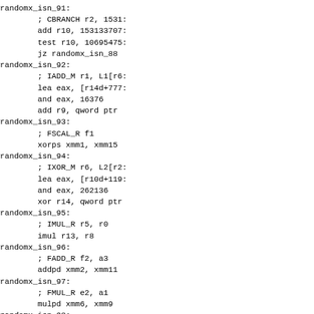randomx_isn_91:
        ; CBRANCH r2, 1531...
        add r10, 153133707...
        test r10, 10695475...
        jz randomx_isn_88
randomx_isn_92:
        ; IADD_M r1, L1[r6...
        lea eax, [r14d+777...
        and eax, 16376
        add r9, qword ptr
randomx_isn_93:
        ; FSCAL_R f1
        xorps xmm1, xmm15
randomx_isn_94:
        ; IXOR_M r6, L2[r2...
        lea eax, [r10d+119...
        and eax, 262136
        xor r14, qword ptr
randomx_isn_95:
        ; IMUL_R r5, r0
        imul r13, r8
randomx_isn_96:
        ; FADD_R f2, a3
        addpd xmm2, xmm11
randomx_isn_97:
        ; FMUL_R e2, a1
        mulpd xmm6, xmm9
randomx_isn_98:
        ; FADD_R f1, a1
        addpd xmm1, xmm9
randomx_isn_99:
        ; FMUL_R e3, a3